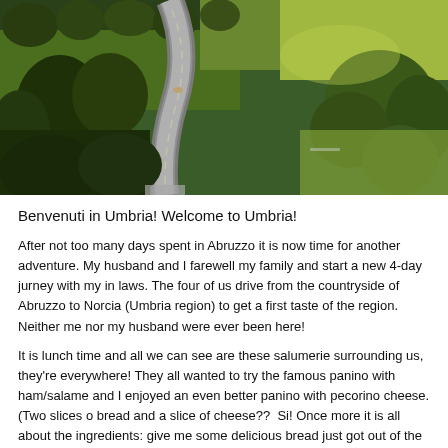[Figure (photo): Aerial view of a winding road cutting through lush green hills and forests, photographed at golden hour with dramatic lighting. Trees and fields visible on both sides of the road.]
Benvenuti in Umbria! Welcome to Umbria!
After not too many days spent in Abruzzo it is now time for another adventure. My husband and I farewell my family and start a new 4-day jurney with my in laws. The four of us drive from the countryside of Abruzzo to Norcia (Umbria region) to get a first taste of the region. Neither me nor my husband were ever been here!
It is lunch time and all we can see are these salumerie surrounding us, they're everywhere! They all wanted to try the famous panino with ham/salame and I enjoyed an even better panino with pecorino cheese. (Two slices o bread and a slice of cheese??  Si! Once more it is all about the ingredients: give me some delicious bread just got out of the wooden-fire oven and some local well-